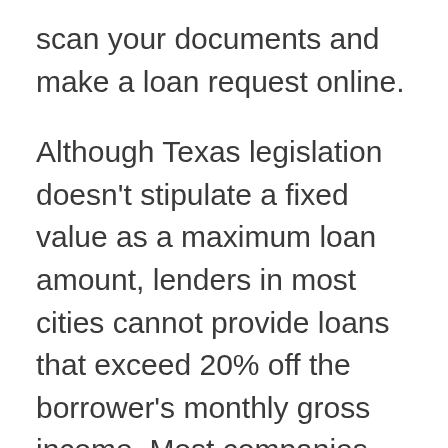scan your documents and make a loan request online.
Although Texas legislation doesn't stipulate a fixed value as a maximum loan amount, lenders in most cities cannot provide loans that exceed 20% off the borrower's monthly gross income. Most companies set a limit of $1,000 on short-term loans to stay on the safe side. Installment loans (with a repayment term of up to six months)